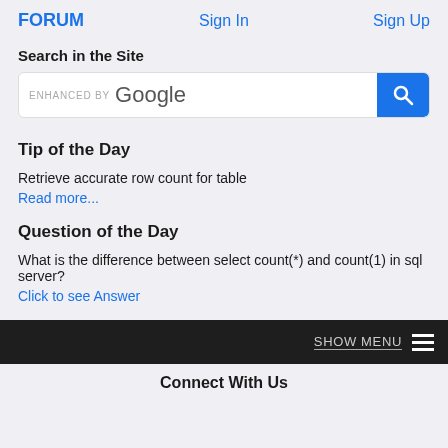FORUM   Sign In   Sign Up
Search in the Site
[Figure (screenshot): Google search bar with 'ENHANCED BY Google' text and blue search button with magnifying glass icon]
Tip of the Day
Retrieve accurate row count for table
Read more...
Question of the Day
What is the difference between select count(*) and count(1) in sql server?
Click to see Answer
SHOW MENU
Connect With Us